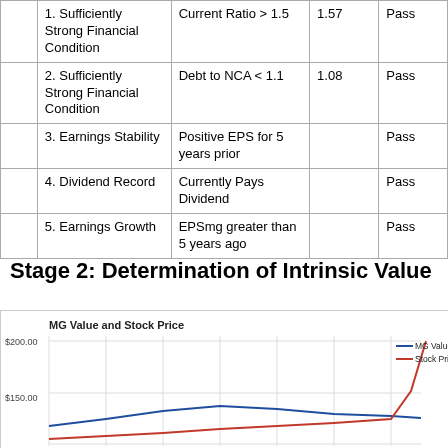|  | Name | Criterion | Value | Result |
| --- | --- | --- | --- | --- |
|  | 1. Sufficiently Strong Financial Condition | Current Ratio > 1.5 | 1.57 | Pass |
|  | 2. Sufficiently Strong Financial Condition | Debt to NCA < 1.1 | 1.08 | Pass |
|  | 3. Earnings Stability | Positive EPS for 5 years prior |  | Pass |
|  | 4. Dividend Record | Currently Pays Dividend |  | Pass |
|  | 5. Earnings Growth | EPSmg greater than 5 years ago |  | Pass |
Stage 2: Determination of Intrinsic Value
[Figure (line-chart): Line chart showing MG Value (blue) and Stock Price (red/orange) over time. Stock price rises sharply at the right end, MG Value is a flatter curve with slight rise in middle.]